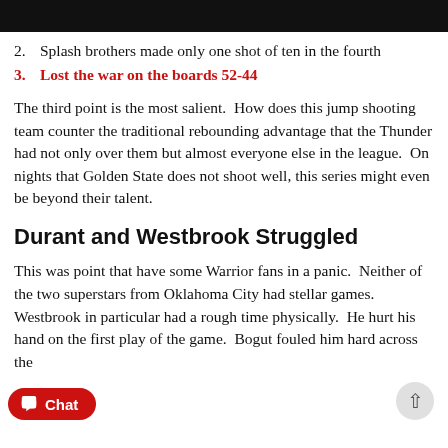2. Splash brothers made only one shot of ten in the fourth
3. Lost the war on the boards 52-44
The third point is the most salient.  How does this jump shooting team counter the traditional rebounding advantage that the Thunder had not only over them but almost everyone else in the league.  On nights that Golden State does not shoot well, this series might even be beyond their talent.
Durant and Westbrook Struggled
This was point that have some Warrior fans in a panic.  Neither of the two superstars from Oklahoma City had stellar games. Westbrook in particular had a rough time physically.  He hurt his hand on the first play of the game.  Bogut fouled him hard across the [back] and got an Intentional One infraction called on him.  All of this and it was the role players that came